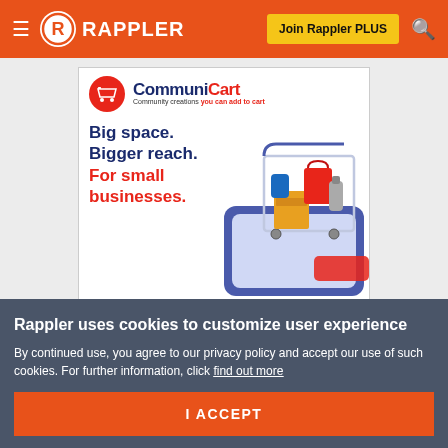≡ RAPPLER | Join Rappler PLUS 🔍
[Figure (illustration): CommuniCart advertisement banner: 'Community creations you can add to cart. Big space. Bigger reach. For small businesses.' with shopping cart illustration. 'Advertise with us: sales@rappler.com']
Rappler uses cookies to customize user experience
By continued use, you agree to our privacy policy and accept our use of such cookies. For further information, click find out more
I ACCEPT